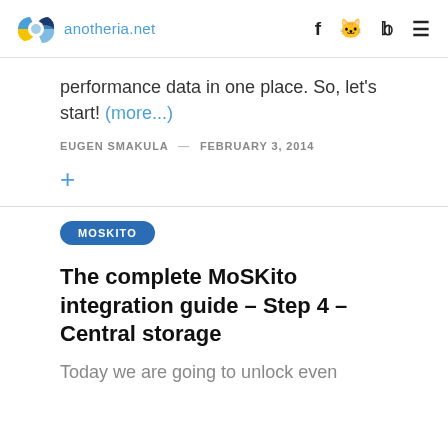anotheria.net
performance data in one place. So, let's start! (more...)
EUGEN SMAKULA — FEBRUARY 3, 2014
+
MOSKITO
The complete MoSKito integration guide – Step 4 – Central storage
Today we are going to unlock even